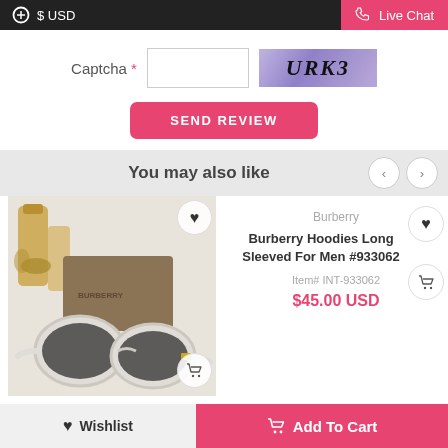$ USD   Live Chat
Captcha *
[Figure (screenshot): CAPTCHA image showing text 'URK3' on a purple gradient background]
SEND REVIEW
You may also like
[Figure (photo): Burberry round white sunglasses with a dark tinted lens displayed in front of packaging and perfume bottles]
Burberry
Burberry
Burberry Hoodies Long Sleeved For Men #933062
Item# INT-933062
$45.00 USD
Wishlist   Add To Cart